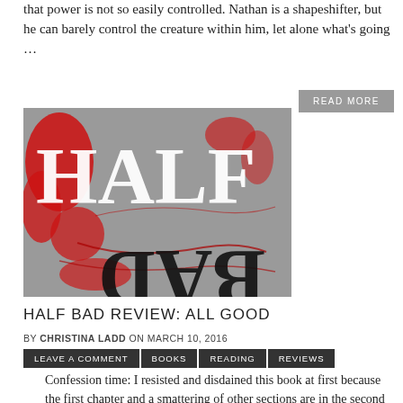that power is not so easily controlled. Nathan is a shapeshifter, but he can barely control the creature within him, let alone what's going …
READ MORE
[Figure (illustration): Book cover for 'Half Bad' — grey background with large white serif letters reading 'HALF' and black inverted letters reading 'BAD', overlaid with red ink splatter patterns]
HALF BAD REVIEW: ALL GOOD
BY CHRISTINA LADD ON MARCH 10, 2016
LEAVE A COMMENT   BOOKS   READING   REVIEWS
Confession time: I resisted and disdained this book at first because the first chapter and a smattering of other sections are in the second person. And I hate that. There's nothing more irritating than wanting a narrative and getting an experiment–it's as if the author is dangling a